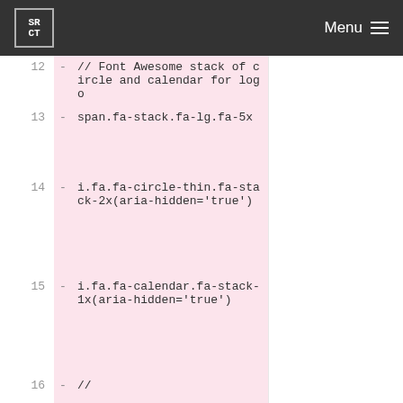SRCT Menu
12  -  // Font Awesome stack of circle and calendar for logo
13  -  span.fa-stack.fa-lg.fa-5x
14  -  i.fa.fa-circle-thin.fa-stack-2x(aria-hidden='true')
15  -  i.fa.fa-calendar.fa-stack-1x(aria-hidden='true')
16  -  //